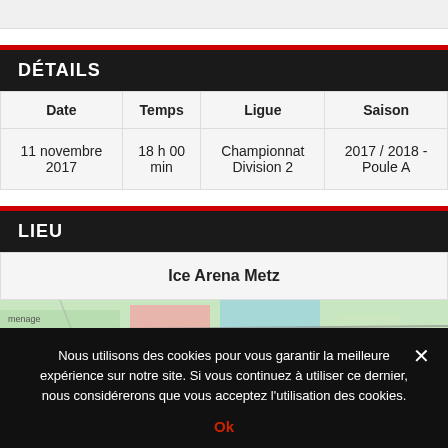DÉTAILS
| Date | Temps | Ligue | Saison |
| --- | --- | --- | --- |
| 11 novembre 2017 | 18 h 00 min | Championnat Division 2 | 2017 / 2018 - Poule A |
LIEU
Ice Arena Metz
[Figure (map): Map showing location of Ice Arena Metz]
Nous utilisons des cookies pour vous garantir la meilleure expérience sur notre site. Si vous continuez à utiliser ce dernier, nous considérerons que vous acceptez l'utilisation des cookies.
Ok